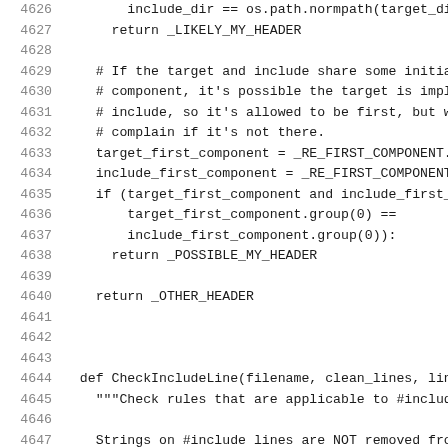[Figure (other): Source code listing showing Python code lines 4626-4647, including logic for checking header file inclusion order with comments and function definitions.]